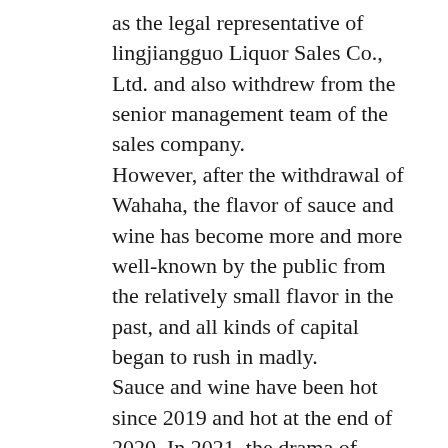as the legal representative of lingjiangguo Liquor Sales Co., Ltd. and also withdrew from the senior management team of the sales company. However, after the withdrawal of Wahaha, the flavor of sauce and wine has become more and more well-known by the public from the relatively small flavor in the past, and all kinds of capital began to rush in madly. Sauce and wine have been hot since 2019 and hot at the end of 2020. In 2021, the drama of “wine madness” of sauce and wine was staged in the capital market. The share prices of many listed companies stained with the concept of sauce and wine soared, and the P / E ratio of some companies was often thousands of times. However, the turning point of this “hot wine” began in August 20, 2021 on the convening of